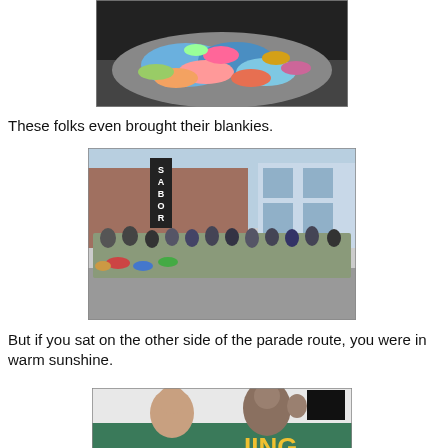[Figure (photo): Colorful pile of blankets and clothes spread out on pavement/asphalt, viewed from above.]
These folks even brought their blankies.
[Figure (photo): Crowd of people sitting on chairs along a parade route in front of a building with a sign reading 'SABOR'. People bundled in winter clothing, some with strollers.]
But if you sat on the other side of the parade route, you were in warm sunshine.
[Figure (photo): Two people waving from what appears to be a parade float or vehicle. A woman on the left and an older man on the right waving. Partial text 'IING' visible on vehicle in yellow letters.]